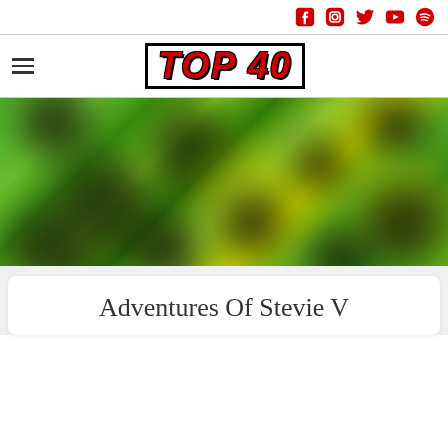Social media icons: Facebook, Instagram, Twitter, YouTube, Spotify
[Figure (logo): TOP 40 logo in red italic bold text with black border outline]
[Figure (photo): Blurred close-up photo of green and yellow spotted background, resembling blurred leaves or beans with dark spots]
Adventures Of Stevie V